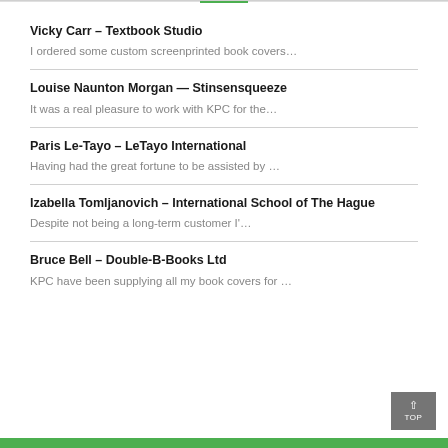Vicky Carr – Textbook Studio
I ordered some custom screenprinted book covers…
Louise Naunton Morgan — Stinsensqueeze
It was a real pleasure to work with KPC for the…
Paris Le-Tayo – LeTayo International
Having had the great fortune to be assisted by …
Izabella Tomljanovich – International School of The Hague
Despite not being a long-term customer I'…
Bruce Bell – Double-B-Books Ltd
KPC have been supplying all my book covers for …